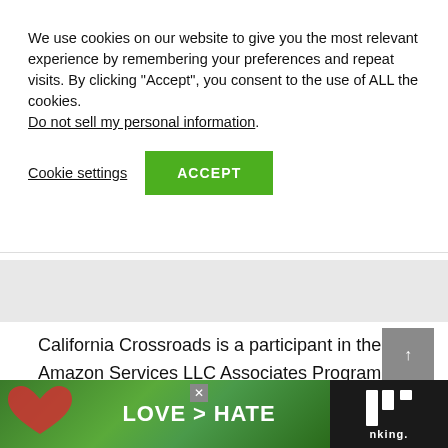We use cookies on our website to give you the most relevant experience by remembering your preferences and repeat visits. By clicking “Accept”, you consent to the use of ALL the cookies. Do not sell my personal information.
Cookie settings | ACCEPT
California Crossroads is a participant in the Amazon Services LLC Associates Program, an affiliate advertising program designed to provide a means for sites to
[Figure (photo): Advertisement banner at bottom showing two hands forming a heart shape with 'LOVE > HATE' text on green background, with a logo on the right side]
LOVE > HATE